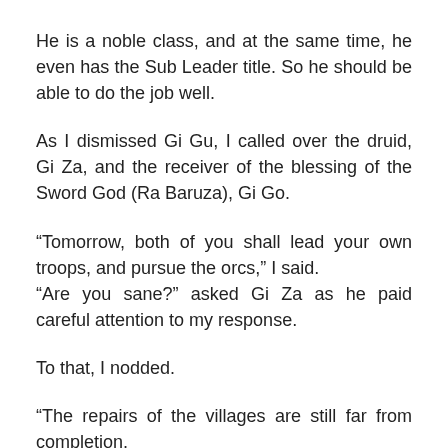He is a noble class, and at the same time, he even has the Sub Leader title. So he should be able to do the job well.
As I dismissed Gi Gu, I called over the druid, Gi Za, and the receiver of the blessing of the Sword God (Ra Baruza), Gi Go.
“Tomorrow, both of you shall lead your own troops, and pursue the orcs,” I said.
“Are you sane?” asked Gi Za as he paid careful attention to my response.
To that, I nodded.
“The repairs of the villages are still far from completion, and...